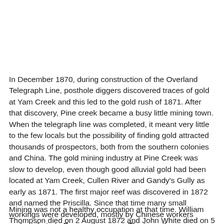In December 1870, during construction of the Overland Telegraph Line, posthole diggers discovered traces of gold at Yam Creek and this led to the gold rush of 1871. After that discovery, Pine creek became a busy little mining town. When the telegraph line was completed, it meant very little to the few locals but the possibility of finding gold attracted thousands of prospectors, both from the southern colonies and China. The gold mining industry at Pine Creek was slow to develop, even though good alluvial gold had been located at Yam Creek, Cullen River and Gandy's Gully as early as 1871. The first major reef was discovered in 1872 and named the Priscilla. Since that time many small workings were developed, mostly by Chinese workers under tribute to European owners. The town then grew rapidly.
Mining was not a healthy occupation at that time. William Thompson died on 2 August 1872 and John White died on 5...